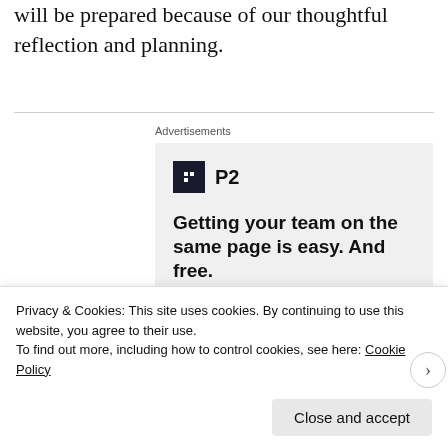will be prepared because of our thoughtful reflection and planning.
[Figure (other): Advertisement banner for P2: logo with dark square icon and 'P2' text, headline 'Getting your team on the same page is easy. And free.' with circular avatar photos below.]
Privacy & Cookies: This site uses cookies. By continuing to use this website, you agree to their use.
To find out more, including how to control cookies, see here: Cookie Policy